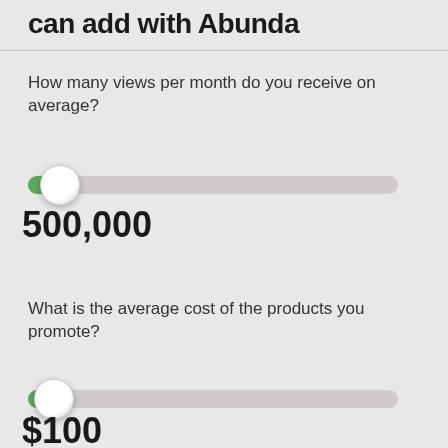can add with Abunda
How many views per month do you receive on average?
[Figure (infographic): Horizontal slider control showing views per month, positioned near minimum, with green fill on left.]
500,000
What is the average cost of the products you promote?
[Figure (infographic): Horizontal slider control showing average product cost, positioned near minimum, with green fill on left.]
$100